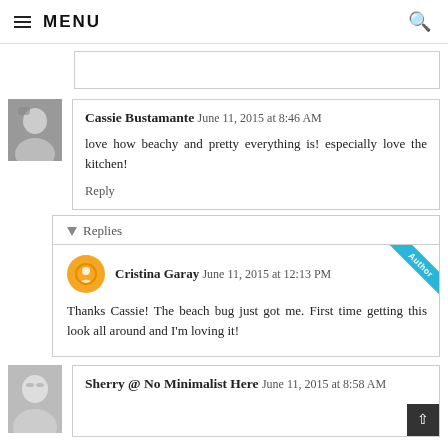≡ MENU
Cassie Bustamante  June 11, 2015 at 8:46 AM
love how beachy and pretty everything is! especially love the kitchen!
Reply
Replies
Cristina Garay  June 11, 2015 at 12:13 PM
Thanks Cassie! The beach bug just got me. First time getting this look all around and I'm loving it!
Sherry @ No Minimalist Here  June 11, 2015 at 8:58 AM